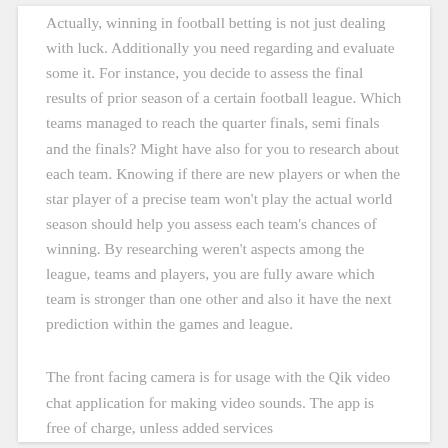Actually, winning in football betting is not just dealing with luck. Additionally you need regarding and evaluate some it. For instance, you decide to assess the final results of prior season of a certain football league. Which teams managed to reach the quarter finals, semi finals and the finals? Might have also for you to research about each team. Knowing if there are new players or when the star player of a precise team won't play the actual world season should help you assess each team's chances of winning. By researching weren't aspects among the league, teams and players, you are fully aware which team is stronger than one other and also it have the next prediction within the games and league.
The front facing camera is for usage with the Qik video chat application for making video sounds. The app is free of charge, unless added services